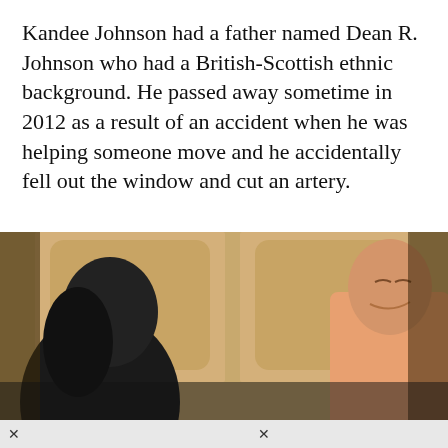Kandee Johnson had a father named Dean R. Johnson who had a British-Scottish ethnic background. He passed away sometime in 2012 as a result of an accident when he was helping someone move and he accidentally fell out the window and cut an artery.
[Figure (photo): A photo showing two people — a woman with dark hair on the left and a man in a peach/salmon shirt on the right — standing in front of wooden cabinet doors. A cookie consent banner overlays the lower portion of the photo.]